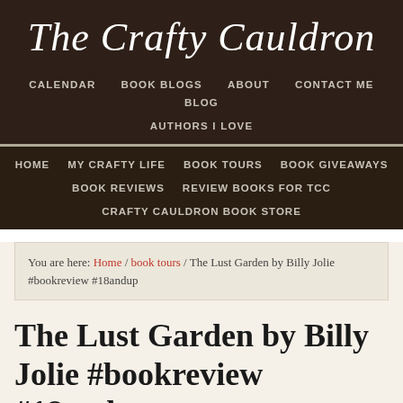The Crafty Cauldron
CALENDAR  BOOK BLOGS  ABOUT  CONTACT ME  BLOG  AUTHORS I LOVE
HOME  MY CRAFTY LIFE  BOOK TOURS  BOOK GIVEAWAYS  BOOK REVIEWS  REVIEW BOOKS FOR TCC  CRAFTY CAULDRON BOOK STORE
You are here: Home / book tours / The Lust Garden by Billy Jolie #bookreview #18andup
The Lust Garden by Billy Jolie #bookreview #18andup